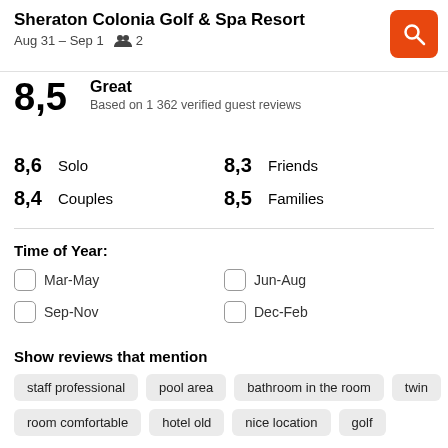Sheraton Colonia Golf & Spa Resort
Aug 31 – Sep 1   2
8,5  Great  Based on 1 362 verified guest reviews
8,6 Solo   8,3 Friends   8,4 Couples   8,5 Families
Time of Year:
Mar-May
Jun-Aug
Sep-Nov
Dec-Feb
Show reviews that mention
staff professional
pool area
bathroom in the room
twin
room comfortable
hotel old
nice location
golf